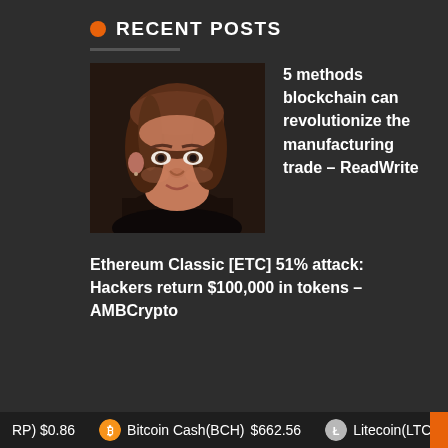RECENT POSTS
[Figure (photo): Portrait photo of a woman with reddish-brown hair against a dark background]
5 methods blockchain can revolutionize the manufacturing trade – ReadWrite
Ethereum Classic [ETC] 51% attack: Hackers return $100,000 in tokens – AMBCrypto
RP) $0.86   Bitcoin Cash(BCH) $662.56   Litecoin(LTC) $168.4